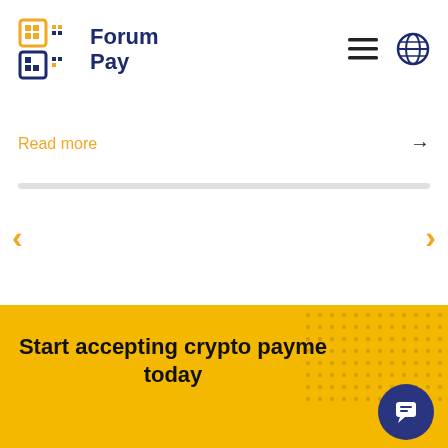[Figure (logo): Forum Pay logo with QR code icon and navy blue text]
Read more
[Figure (other): Navigation carousel with left and right orange chevron arrows]
Start accepting crypto payments today